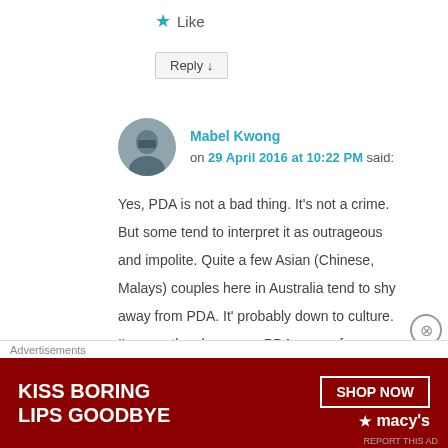★ Like
Reply ↓
Mabel Kwong on 29 April 2016 at 10:22 PM said:
Yes, PDA is not a bad thing. It's not a crime. But some tend to interpret it as outrageous and impolite. Quite a few Asian (Chinese, Malays) couples here in Australia tend to shy away from PDA. It' probably down to culture. I'm sure they have non-PDA ways of expressing love, and maybe you might be familiar with that. Thanks for reading and for
Advertisements
[Figure (infographic): Macy's advertisement banner: 'KISS BORING LIPS GOODBYE' with SHOP NOW button and Macy's logo with star]